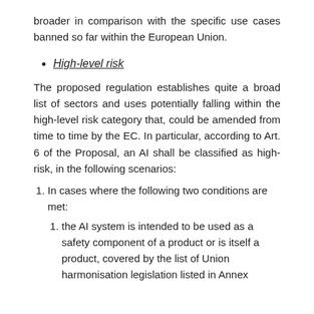broader in comparison with the specific use cases banned so far within the European Union.
High-level risk
The proposed regulation establishes quite a broad list of sectors and uses potentially falling within the high-level risk category that, could be amended from time to time by the EC. In particular, according to Art. 6 of the Proposal, an AI shall be classified as high-risk, in the following scenarios:
1. In cases where the following two conditions are met: 1. the AI system is intended to be used as a safety component of a product or is itself a product, covered by the list of Union harmonisation legislation listed in Annex